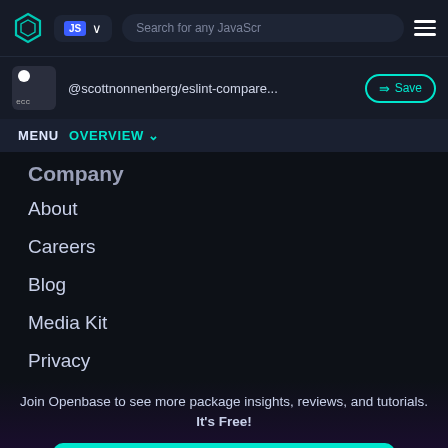[Figure (screenshot): Top navigation bar with Openbase logo, JS language selector dropdown, search bar placeholder text 'Search for any JavaScr', and hamburger menu icon]
@scottnonnenberg/eslint-compare...
Save
MENU  OVERVIEW
Company
About
Careers
Blog
Media Kit
Privacy
Join Openbase to see more package insights, reviews, and tutorials. It's Free!
SIGN UP WITH GITHUB
By signing up, you agree to our terms and privacy policy